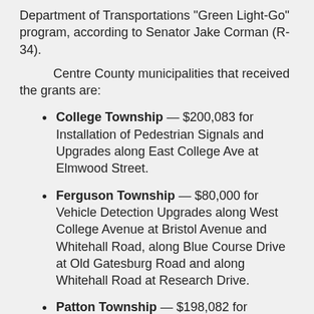Department of Transportations "Green Light-Go" program, according to Senator Jake Corman (R-34).
Centre County municipalities that received the grants are:
College Township — $200,083 for Installation of Pedestrian Signals and Upgrades along East College Ave at Elmwood Street.
Ferguson Township — $80,000 for Vehicle Detection Upgrades along West College Avenue at Bristol Avenue and Whitehall Road, along Blue Course Drive at Old Gatesburg Road and along Whitehall Road at Research Drive.
Patton Township — $198,082 for